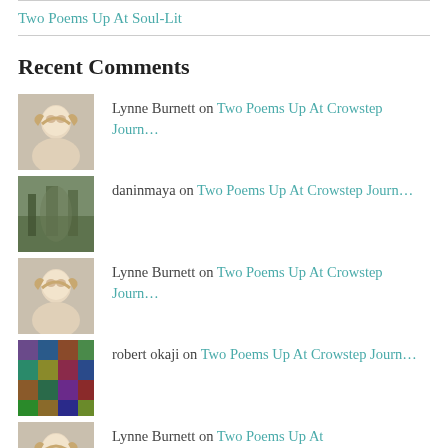Two Poems Up At Soul-Lit
Recent Comments
Lynne Burnett on Two Poems Up At Crowstep Journ....
[Figure (photo): Avatar photo of Lynne Burnett - blonde woman]
daninmaya on Two Poems Up At Crowstep Journ....
[Figure (photo): Avatar photo of daninmaya - outdoor/nature image]
Lynne Burnett on Two Poems Up At Crowstep Journ....
[Figure (photo): Avatar photo of Lynne Burnett - blonde woman]
robert okaji on Two Poems Up At Crowstep Journ....
[Figure (photo): Avatar photo of robert okaji - colorful pattern image]
Lynne Burnett on Two Poems Up At